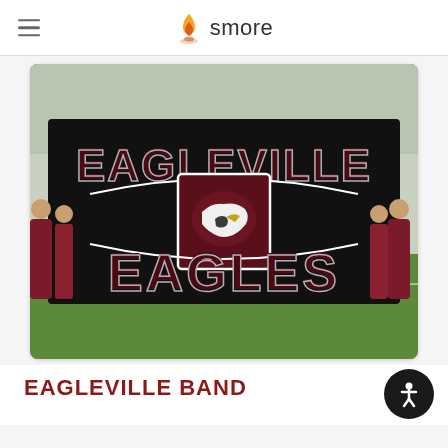smore
[Figure (photo): Cheerleaders holding a large black banner reading 'EAGLEVILLE EAGLES' with an eagle mascot logo in the center, on a football field]
EAGLEVILLE BAND